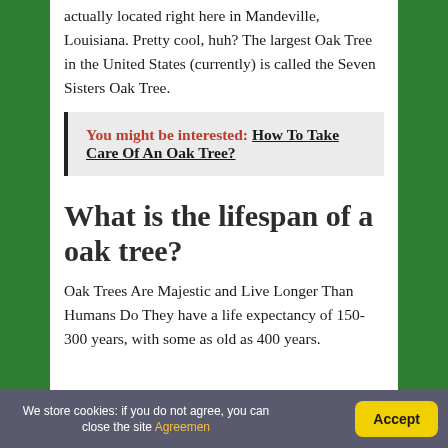actually located right here in Mandeville, Louisiana. Pretty cool, huh? The largest Oak Tree in the United States (currently) is called the Seven Sisters Oak Tree.
You might be interested: How To Take Care Of An Oak Tree?
What is the lifespan of a oak tree?
Oak Trees Are Majestic and Live Longer Than Humans Do They have a life expectancy of 150-300 years, with some as old as 400 years.
We store cookies: if you do not agree, you can close the site Agreemen  Accept